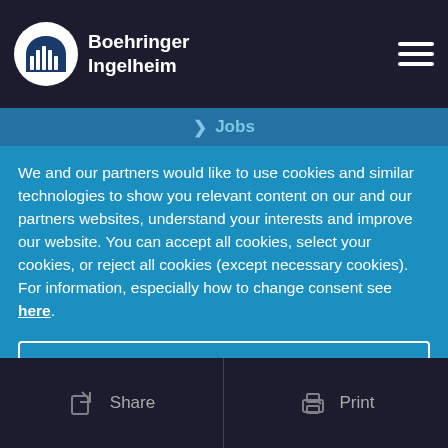Boehringer Ingelheim
Jobs
We and our partners would like to use cookies and similar technologies to show you relevant content on our and our partners websites, understand your interests and improve our website. You can accept all cookies, select your cookies, or reject all cookies (except necessary cookies). For information, especially how to change consent see here.
Reject All
Select Cookie Preferences
Accept All
Share   Print